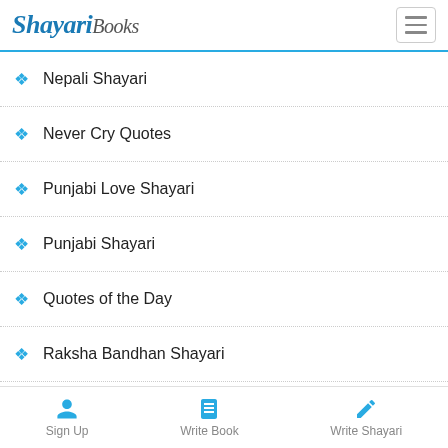Shayari Books — navigation header
Nepali Shayari
Never Cry Quotes
Punjabi Love Shayari
Punjabi Shayari
Quotes of the Day
Raksha Bandhan Shayari
Romantic Shayari
Sad Shayari
Sharabi Shayari
Sorry Quotes and SMS
Sign Up | Write Book | Write Shayari